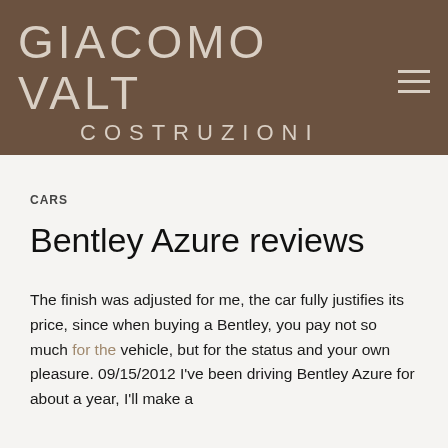GIACOMO VALT COSTRUZIONI
CARS
Bentley Azure reviews
The finish was adjusted for me, the car fully justifies its price, since when buying a Bentley, you pay not so much for the vehicle, but for the status and your own pleasure. 09/15/2012 I've been driving Bentley Azure for about a year, I'll make a